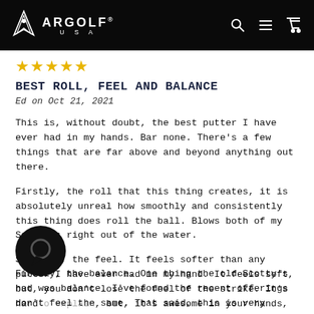ARGOLF USA
★★★★★
BEST ROLL, FEEL AND BALANCE
Ed on Oct 21, 2021
This is, without doubt, the best putter I have ever had in my hands. Bar none. There's a few things that are far above and beyond anything out there.
Firstly, the roll that this thing creates, it is absolutely unreal how smoothly and consistently this thing does roll the ball. Blows both of my Scotty's right out of the water.
Secondly, the feel. It feels softer than any putter I have ever had in my hand. It feels soft, but, you don't lose the feel of the strike. It's hard to explain, but, it's awesome in your hands, and inspires co...
Finally, the balance. One thing the old Scotty's had was balance. I've found the recent offerings don't feel the same. That said, this is very